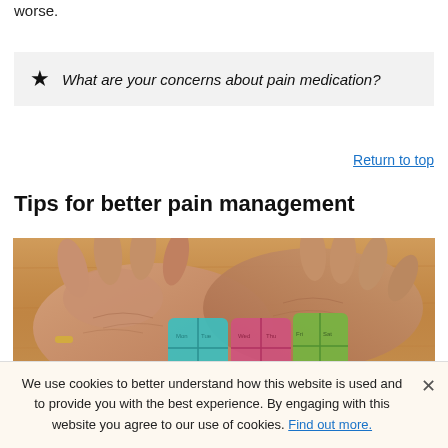worse.
★ What are your concerns about pain medication?
Return to top
Tips for better pain management
[Figure (photo): Elderly hands with a pill organizer on a wooden table. The pill organizer has colorful compartments (teal, pink, green).]
We use cookies to better understand how this website is used and to provide you with the best experience. By engaging with this website you agree to our use of cookies. Find out more.